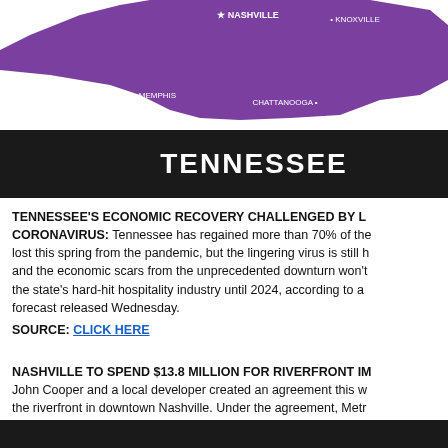[Figure (map): Purple map of Tennessee showing cities: Nashville (star), Knoxville, Memphis, Chattanooga]
TENNESSEE
TENNESSEE'S ECONOMIC RECOVERY CHALLENGED BY LINGERING CORONAVIRUS: Tennessee has regained more than 70% of the jobs lost this spring from the pandemic, but the lingering virus is still hurting and the economic scars from the unprecedented downturn won't fully heal the state's hard-hit hospitality industry until 2024, according to a forecast released Wednesday.
SOURCE: CLICK HERE
NASHVILLE TO SPEND $13.8 MILLION FOR RIVERFRONT IMPROVEMENTS: John Cooper and a local developer created an agreement this week about the riverfront in downtown Nashville. Under the agreement, Metro will pay in public road costs within River North — the property that runs along the River's East bank — according to a media release.
SOURCE: CLICK HERE